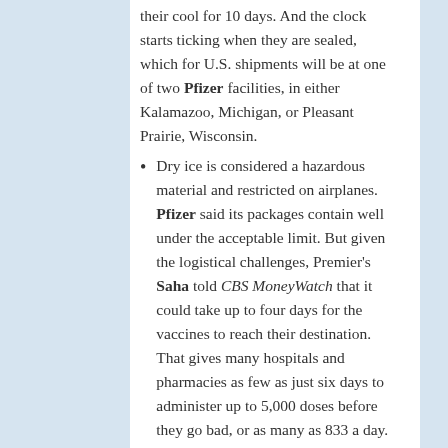their cool for 10 days. And the clock starts ticking when they are sealed, which for U.S. shipments will be at one of two Pfizer facilities, in either Kalamazoo, Michigan, or Pleasant Prairie, Wisconsin.
Dry ice is considered a hazardous material and restricted on airplanes. Pfizer said its packages contain well under the acceptable limit. But given the logistical challenges, Premier's Saha told CBS MoneyWatch that it could take up to four days for the vaccines to reach their destination. That gives many hospitals and pharmacies as few as just six days to administer up to 5,000 doses before they go bad, or as many as 833 a day. The vaccinations can be moved to a typical refrigerator, but for only five days.
Pfizer's shipping container can be refilled with dry ice. But it likely will have to be in pellets not blocks, and a refill, which could cost a few hundred dollars, will only extend